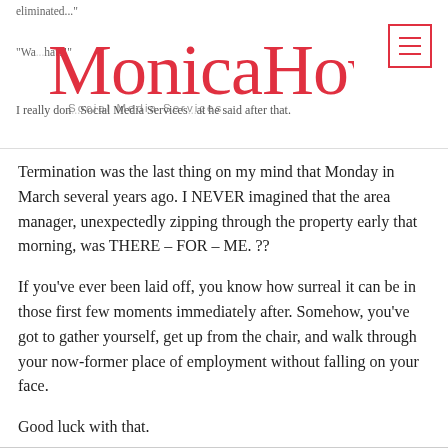eliminated...
"Wa... hat?!"
[Figure (logo): Monica Howard Social Media Services script logo in red cursive with tagline below]
I really don... at he said after that.
Termination was the last thing on my mind that Monday in March several years ago. I NEVER imagined that the area manager, unexpectedly zipping through the property early that morning, was THERE – FOR – ME. ??
If you've ever been laid off, you know how surreal it can be in those first few moments immediately after. Somehow, you've got to gather yourself, get up from the chair, and walk through your now-former place of employment without falling on your face.
Good luck with that.